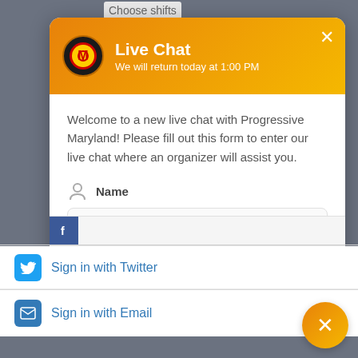Choose shifts
[Figure (screenshot): Live chat modal popup from Progressive Maryland. Header with gradient orange background shows logo, 'Live Chat' title and 'We will return today at 1:00 PM' subtitle, with X close button. Body contains welcome text, Name field with placeholder 'E.g. John Smith', partial Email row. Below modal: Facebook sign-in row, 'Sign in with Twitter' row, 'Sign in with Email' row. Orange circular X button in bottom right corner.]
Live Chat
We will return today at 1:00 PM
Welcome to a new live chat with Progressive Maryland! Please fill out this form to enter our live chat where an organizer will assist you.
Name
E.g. John Smith
Sign in with Twitter
Sign in with Email